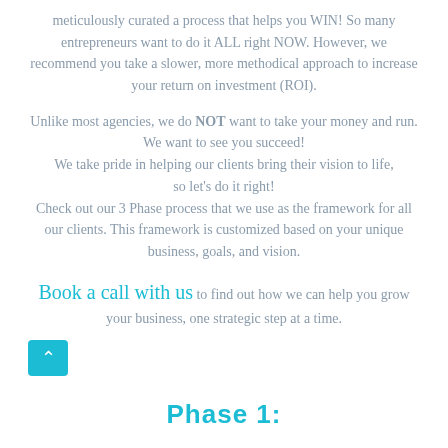meticulously curated a process that helps you WIN! So many entrepreneurs want to do it ALL right NOW. However, we recommend you take a slower, more methodical approach to increase your return on investment (ROI).
Unlike most agencies, we do NOT want to take your money and run.
We want to see you succeed!
We take pride in helping our clients bring their vision to life, so let's do it right!
Check out our 3 Phase process that we use as the framework for all our clients. This framework is customized based on your unique business, goals, and vision.
Book a call with us to find out how we can help you grow your business, one strategic step at a time.
Phase 1: